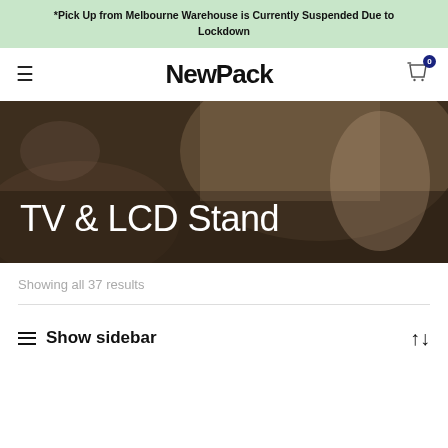*Pick Up from Melbourne Warehouse is Currently Suspended Due to Lockdown
NewPack
[Figure (photo): Hero banner image with dark overlay showing hands working on a surface, with 'TV & LCD Stand' text overlaid]
Showing all 37 results
Show sidebar